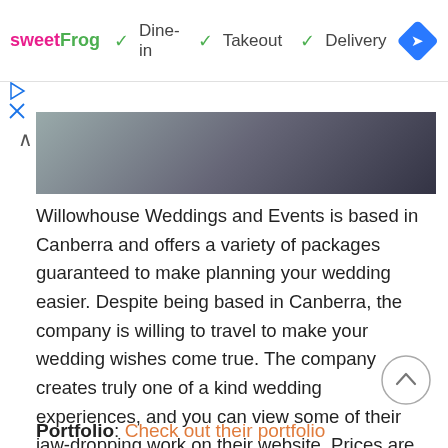[Figure (screenshot): Ad banner with sweetFrog logo and Dine-in, Takeout, Delivery checkmarks, plus navigation diamond icon]
[Figure (photo): Black and white photo strip showing legs/feet of a person walking, appears to be a wedding venue or event space]
Willowhouse Weddings and Events is based in Canberra and offers a variety of packages guaranteed to make planning your wedding easier. Despite being based in Canberra, the company is willing to travel to make your wedding wishes come true. The company creates truly one of a kind wedding experiences, and you can view some of their jaw-dropping work on their website. Prices are not listed, but click here to contact them.
Portfolio: Check out their portfolio